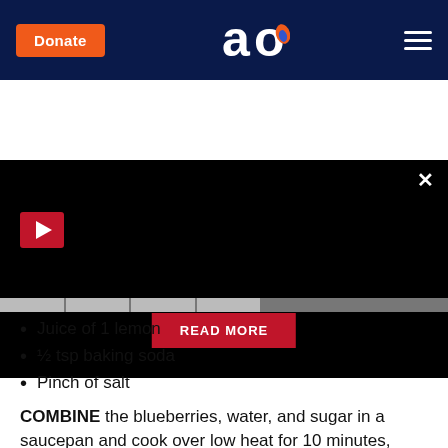[Figure (screenshot): Website header with dark navy background, orange Donate button on left, stylized 'ao' logo in center, hamburger menu icon on right]
[Figure (screenshot): Black video/promo area with red play button top-left, X close button top-right, red READ MORE button centered near bottom]
Juice of 1 lemon
½ tsp baking soda
Pinch of salt
COMBINE the blueberries, water, and sugar in a saucepan and cook over low heat for 10 minutes, stirring often, until the blueberries begin to break apart making a compote like consistency.
BEAT together the cottage cheese, yogurt, eggs, and